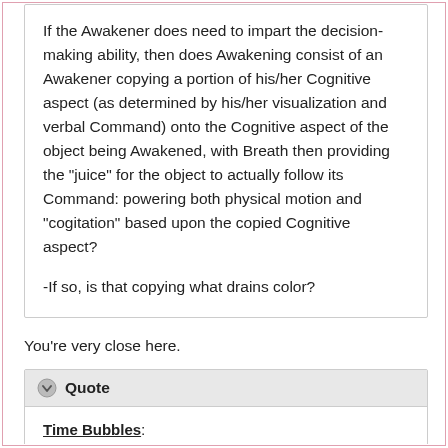If the Awakener does need to impart the decision-making ability, then does Awakening consist of an Awakener copying a portion of his/her Cognitive aspect (as determined by his/her visualization and verbal Command) onto the Cognitive aspect of the object being Awakened, with Breath then providing the "juice" for the object to actually follow its Command: powering both physical motion and "cogitation" based upon the copied Cognitive aspect?

-If so, is that copying what drains color?
You're very close here.
Quote

Time Bubbles:

If you are standing inside of a time bubble, and throw a spear out of the bubble, what happens to that spear as it traverses the border of the bubble? Are different parts of the spear ever in different "time zones," going